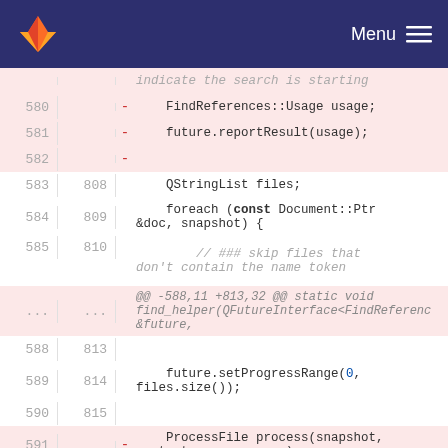GitLab — Menu
[Figure (screenshot): GitLab code diff view showing removed and added lines in a C++ source file. Lines 580-592 are deleted (red background) and line 816 is added (green background). Code involves FindReferences::Usage, future.reportResult, QStringList files, foreach loop, setProgressRange, ProcessFile, UpdateUI, and findTarget.typeKind().]